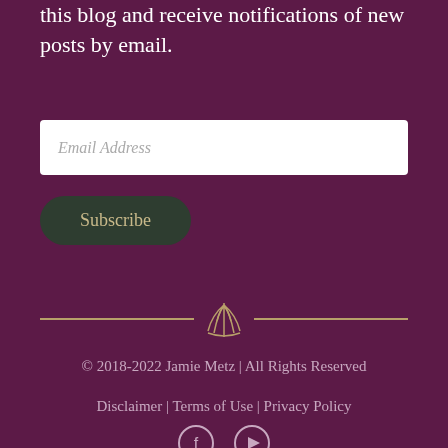this blog and receive notifications of new posts by email.
[Figure (other): Email address input field with placeholder text 'Email Address']
[Figure (other): Subscribe button with dark green rounded rectangle background]
[Figure (other): Decorative divider with horizontal gold lines and a seashell icon in the center]
© 2018-2022 Jamie Metz | All Rights Reserved
Disclaimer | Terms of Use | Privacy Policy
[Figure (other): Social media icons: Facebook and YouTube, shown as circle outlines with icons inside]